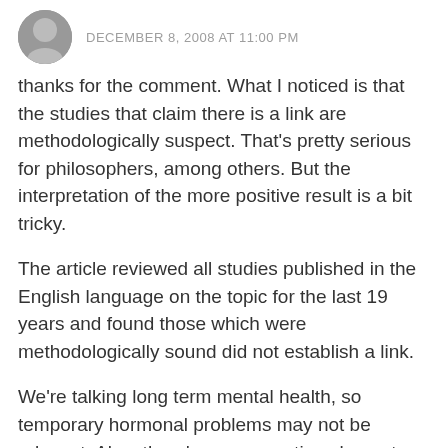DECEMBER 8, 2008 AT 11:00 PM
thanks for the comment. What I noticed is that the studies that claim there is a link are methodologically suspect. That's pretty serious for philosophers, among others. But the interpretation of the more positive result is a bit tricky.
The article reviewed all studies published in the English language on the topic for the last 19 years and found those which were methodologically sound did not establish a link.
We're talking long term mental health, so temporary hormonal problems may not be relevant. Also, there's a comparative element: women who had an abortion were no worse off than those who hadn't. That allows that women who did not have an abortion